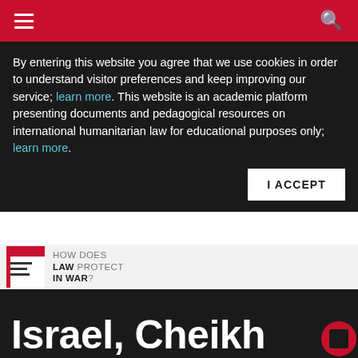Navigation bar with hamburger menu and search icon
By entering this website you agree that we use cookies in order to understand visitor preferences and keep improving our service; learn more. This website is an academic platform presenting documents and pedagogical resources on international humanitarian law for educational purposes only; learn more.
[Figure (logo): How Does Law Protect In War? logo with red and dark icon]
Israel, Cheikh